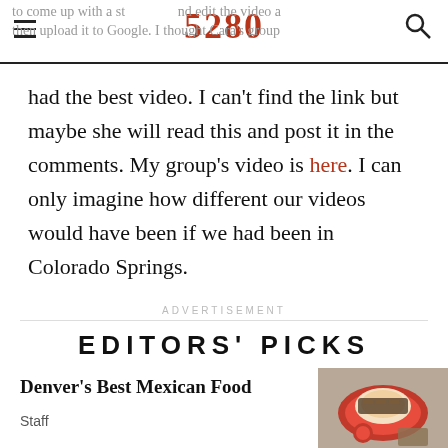5280
to come up with a story and edit the video and then upload it to Google. I thought Cara's group had the best video. I can't find the link but maybe she will read this and post it in the comments. My group's video is here. I can only imagine how different our videos would have been if we had been in Colorado Springs.
ADVERTISEMENT
EDITORS' PICKS
Denver's Best Mexican Food
Staff
[Figure (photo): Photo of Mexican food on a red plate]